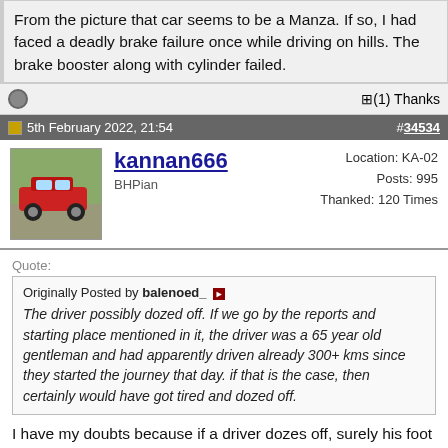From the picture that car seems to be a Manza. If so, I had faced a deadly brake failure once while driving on hills. The brake booster along with cylinder failed.
(1) Thanks
5th February 2022, 21:54
#34534
kannan666
BHPian
Location: KA-02
Posts: 995
Thanked: 120 Times
Quote:
Originally Posted by balenoed_
The driver possibly dozed off. If we go by the reports and starting place mentioned in it, the driver was a 65 year old gentleman and had apparently driven already 300+ kms since they started the journey that day. if that is the case, then certainly would have got tired and dozed off.
I have my doubts because if a driver dozes off, surely his foot comes off the accelerator and also, he won't also be going in a relatively straight line as it happens here. The car actually looks like it's accelerating as it reaches the toll